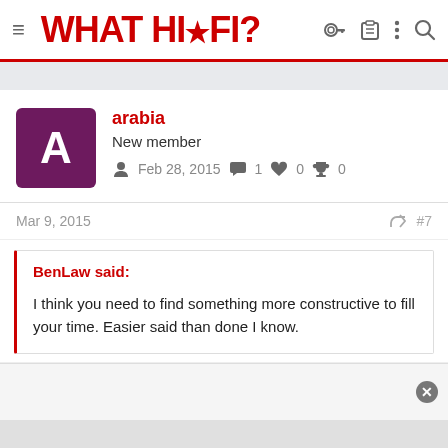WHAT HI-FI?
arabia
New member
Feb 28, 2015  1  0  0
Mar 9, 2015  #7
BenLaw said:
I think you need to find something more constructive to fill your time. Easier said than done I know.
Yes I agree with you.